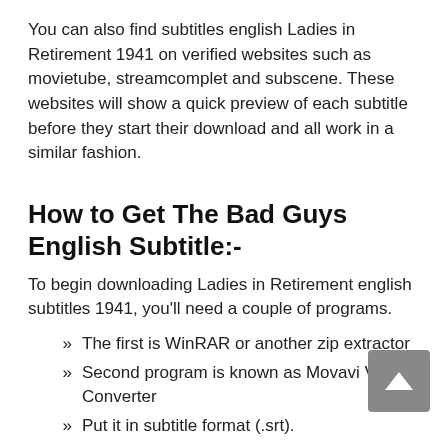You can also find subtitles english Ladies in Retirement 1941 on verified websites such as movietube, streamcomplet and subscene. These websites will show a quick preview of each subtitle before they start their download and all work in a similar fashion.
How to Get The Bad Guys English Subtitle:-
To begin downloading Ladies in Retirement english subtitles 1941, you'll need a couple of programs.
The first is WinRAR or another zip extractor
Second program is known as Movavi Video Converter
Put it in subtitle format (.srt).
Need KM Player/MX Player